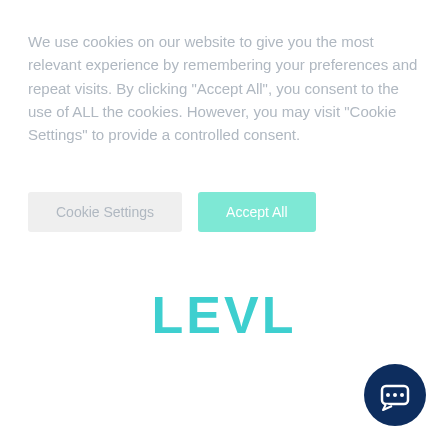We use cookies on our website to give you the most relevant experience by remembering your preferences and repeat visits. By clicking "Accept All", you consent to the use of ALL the cookies. However, you may visit "Cookie Settings" to provide a controlled consent.
[Figure (other): Two buttons: 'Cookie Settings' (light grey background) and 'Accept All' (teal/mint background)]
LEVL
[Figure (other): Dark navy blue circular chat/support bubble icon in bottom-right corner]